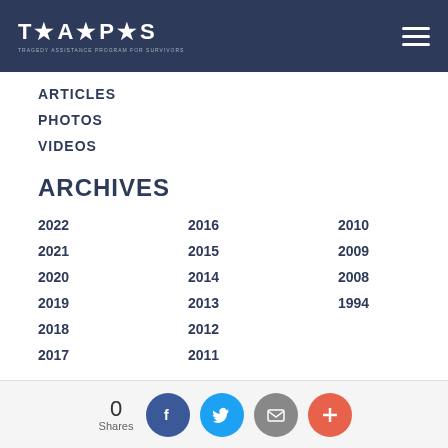T★A★P★S
ARTICLES
PHOTOS
VIDEOS
ARCHIVES
2022 2016 2010 2021 2015 2009 2020 2014 2008 2019 2013 1994 2018 2012 2017 2011
0 Shares